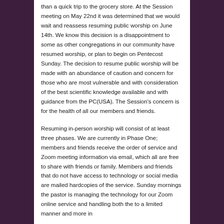than a quick trip to the grocery store. At the Session meeting on May 22nd it was determined that we would wait and reassess resuming public worship on June 14th. We know this decision is a disappointment to some as other congregations in our community have resumed worship, or plan to begin on Pentecost Sunday. The decision to resume public worship will be made with an abundance of caution and concern for those who are most vulnerable and with consideration of the best scientific knowledge available and with guidance from the PC(USA). The Session's concern is for the health of all our members and friends.
Resuming in-person worship will consist of at least three phases. We are currently in Phase One; members and friends receive the order of service and Zoom meeting information via email, which all are free to share with friends or family. Members and friends that do not have access to technology or social media are mailed hardcopies of the service. Sunday mornings the pastor is managing the technology for our Zoom online service and handling both the to a limited manner and more in